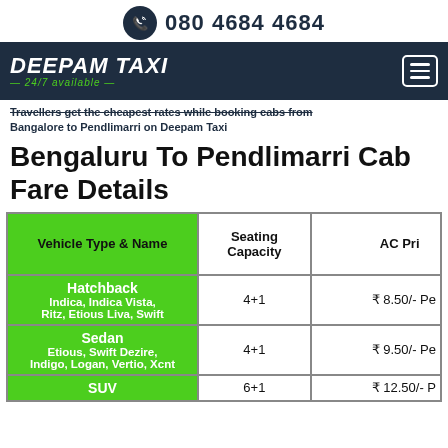080 4684 4684
Travellers get the cheapest rates while booking cabs from Bangalore to Pendlimarri on Deepam Taxi
Bengaluru To Pendlimarri Cab Fare Details
| Vehicle Type & Name | Seating Capacity | AC Price |
| --- | --- | --- |
| Hatchback
Indica, Indica Vista, Ritz, Etious Liva, Swift | 4+1 | ₹ 8.50/- Pe... |
| Sedan
Etious, Swift Dezire, Indigo, Logan, Vertio, Xcnt | 4+1 | ₹ 9.50/- Pe... |
| SUV | 6+1 | ₹ 12.50/- P... |